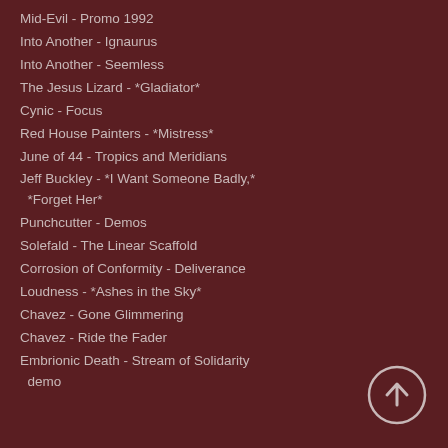Mid-Evil - Promo 1992
Into Another - Ignaurus
Into Another - Seemless
The Jesus Lizard - *Gladiator*
Cynic - Focus
Red House Painters - *Mistress*
June of 44 - Tropics and Meridians
Jeff Buckley - *I Want Someone Badly,* *Forget Her*
Punchcutter - Demos
Solefald - The Linear Scaffold
Corrosion of Conformity - Deliverance
Loudness - *Ashes in the Sky*
Chavez - Gone Glimmering
Chavez - Ride the Fader
Embrionic Death - Stream of Solidarity demo